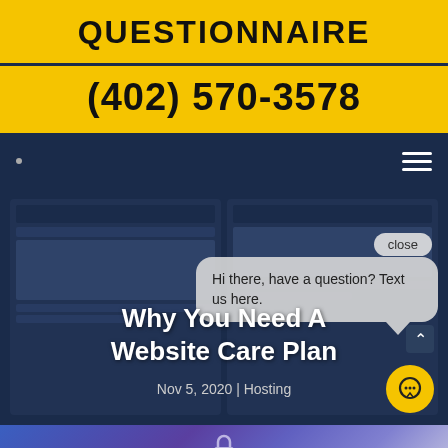QUESTIONNAIRE
(402) 570-3578
[Figure (screenshot): Dark navy navigation bar with a small dot on the left and a hamburger menu icon on the right]
[Figure (screenshot): Website hero area with dark navy background showing two website screenshot thumbnails, overlaid with a chat popup bubble saying 'Hi there, have a question? Text us here.' with a close button, and the text 'Why You Need A Website Care Plan' with date 'Nov 5, 2020 | Hosting']
[Figure (photo): Bottom strip showing a blue/purple gradient background with a padlock icon, part of a website security themed image]